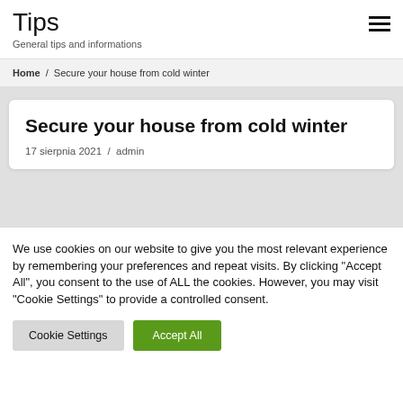Tips
General tips and informations
Home / Secure your house from cold winter
Secure your house from cold winter
17 sierpnia 2021 / admin
We use cookies on our website to give you the most relevant experience by remembering your preferences and repeat visits. By clicking "Accept All", you consent to the use of ALL the cookies. However, you may visit "Cookie Settings" to provide a controlled consent.